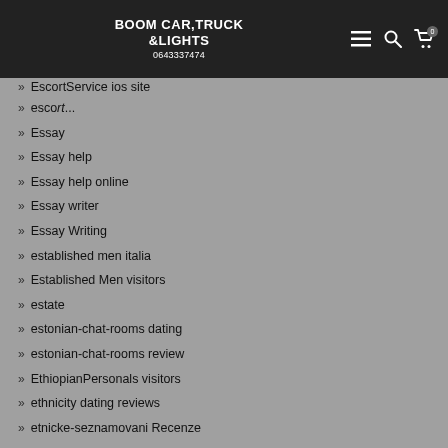BOOM CAR,TRUCK &LIGHTS
0643337474
EscortService ios site
escort...
Essay
Essay help
Essay help online
Essay writer
Essay Writing
established men italia
Established Men visitors
estate
estonian-chat-rooms dating
estonian-chat-rooms review
EthiopianPersonals visitors
ethnicity dating reviews
etnicke-seznamovani Recenze